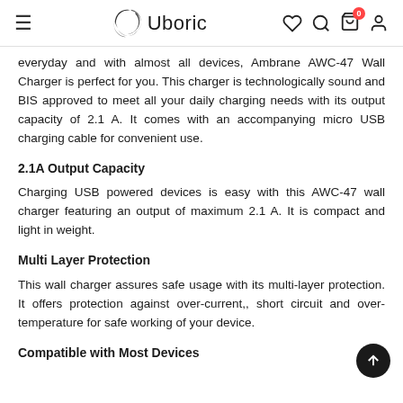≡  Uboric  ♡ 🔍 🛍 0 👤
everyday and with almost all devices, Ambrane AWC-47 Wall Charger is perfect for you. This charger is technologically sound and BIS approved to meet all your daily charging needs with its output capacity of 2.1 A. It comes with an accompanying micro USB charging cable for convenient use.
2.1A Output Capacity
Charging USB powered devices is easy with this AWC-47 wall charger featuring an output of maximum 2.1 A. It is compact and light in weight.
Multi Layer Protection
This wall charger assures safe usage with its multi-layer protection. It offers protection against over-current,, short circuit and over-temperature for safe working of your device.
Compatible with Most Devices